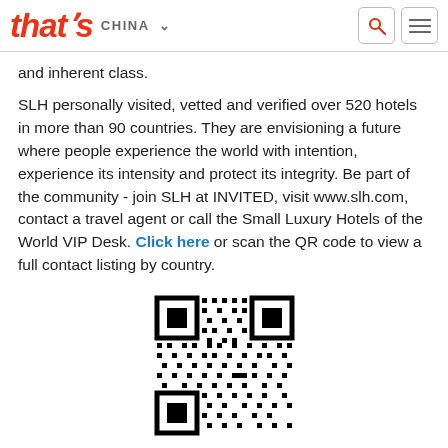that's CHINA
and inherent class.
SLH personally visited, vetted and verified over 520 hotels in more than 90 countries. They are envisioning a future where people experience the world with intention, experience its intensity and protect its integrity. Be part of the community - join SLH at INVITED, visit www.slh.com, contact a travel agent or call the Small Luxury Hotels of the World VIP Desk. Click here or scan the QR code to view a full contact listing by country.
[Figure (other): QR code for contact listing by country]